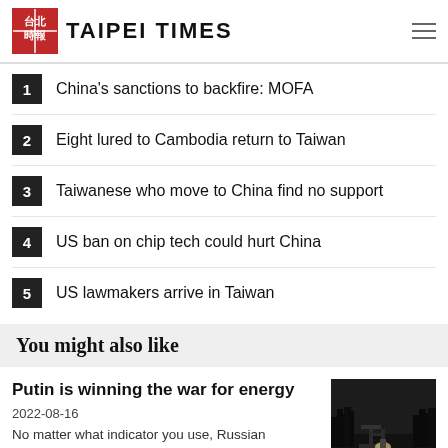TAIPEI TIMES
1  China's sanctions to backfire: MOFA
2  Eight lured to Cambodia return to Taiwan
3  Taiwanese who move to China find no support
4  US ban on chip tech could hurt China
5  US lawmakers arrive in Taiwan
You might also like
Putin is winning the war for energy
2022-08-16
No matter what indicator you use, Russian President Vladimir Putin is winning in the…